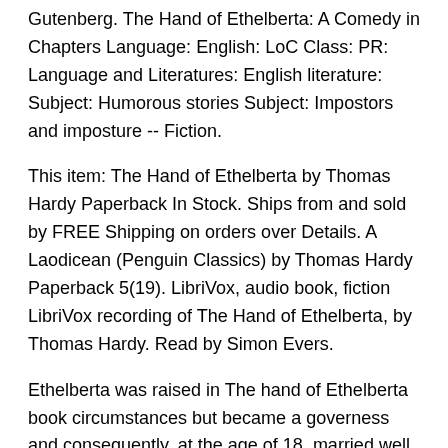Gutenberg. The Hand of Ethelberta: A Comedy in Chapters Language: English: LoC Class: PR: Language and Literatures: English literature: Subject: Humorous stories Subject: Impostors and imposture -- Fiction.
This item: The Hand of Ethelberta by Thomas Hardy Paperback In Stock. Ships from and sold by FREE Shipping on orders over Details. A Laodicean (Penguin Classics) by Thomas Hardy Paperback 5(19). LibriVox, audio book, fiction LibriVox recording of The Hand of Ethelberta, by Thomas Hardy. Read by Simon Evers.
Ethelberta was raised in The hand of Ethelberta book circumstances but became a governess and consequently, at the age of 18, married well. The hand of Ethelberta Thomas Hardy The hand of Ethelberta You can also purchase this book from a vendor and ship it to our address: Internet Archive Open Library Book Donations Funston Avenue San Francisco, CA Better World Books; Benefits of donating.
When you donate a physical book to the Internet Archive, your book will enjoy5(2). The novel () follows the fortunes of Ethelberta, one of